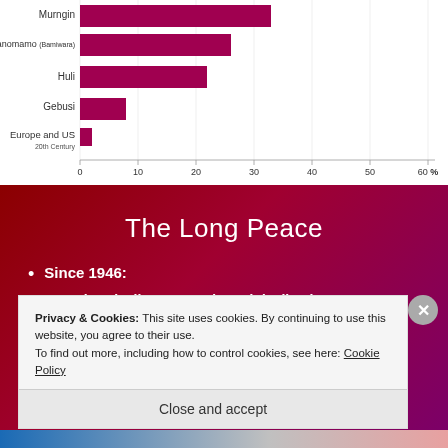[Figure (bar-chart): War deaths as percentage]
The Long Peace
Since 1946:
– Historically unprecedented decline in
Privacy & Cookies: This site uses cookies. By continuing to use this website, you agree to their use. To find out more, including how to control cookies, see here: Cookie Policy
Close and accept